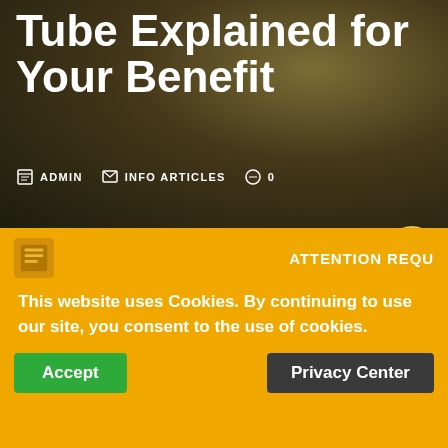Tube Explained for Your Benefit
ADMIN   INFO ARTICLES   0
Among the various types of metal and alloys on the market, brass is one of the most popular. It's produced from a
ATTENTION REQU...
This website uses Cookies. By continuing to use our site, you consent to the use of cookies.
Accept
Privacy Center